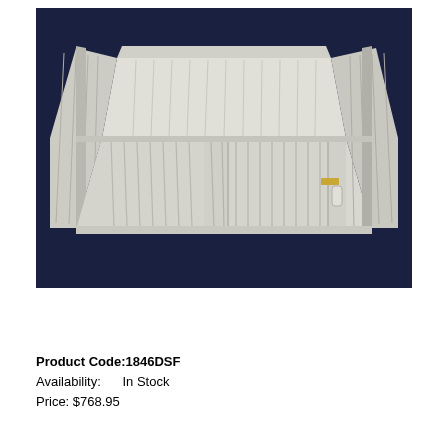[Figure (photo): A large white plastic modular pet playpen or exercise pen with slatted walls and a door with latch, shown from a perspective angle against a dark navy background. The pen has a flat floor tray and vertical bar panels forming a rectangular enclosure.]
Product Code:1846DSF
Availability:      In Stock
Price: $768.95